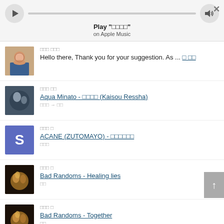Play "□□□□" on Apple Music
□□□ □□□
Hello there, Thank you for your suggestion. As ... □ □□
□□□ □□
Aqua Minato - □□□□ (Kaisou Ressha)
□□□ → □□
□□□ □
ACANE (ZUTOMAYO) - □□□□□□
□□□
□□□ □
Bad Randoms - Healing lies
□□
□□□ □
Bad Randoms - Together
□□